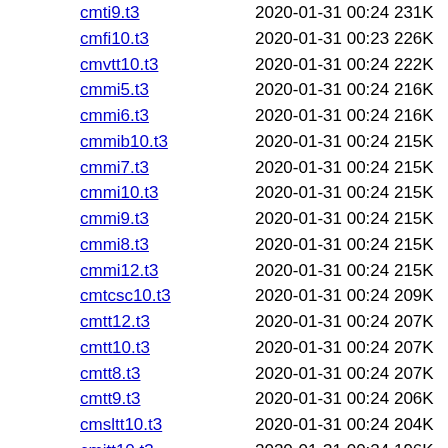cmti9.t3   2020-01-31 00:24 231K
cmfi10.t3   2020-01-31 00:23 226K
cmvtt10.t3   2020-01-31 00:24 222K
cmmi5.t3   2020-01-31 00:24 216K
cmmi6.t3   2020-01-31 00:24 216K
cmmib10.t3   2020-01-31 00:24 215K
cmmi7.t3   2020-01-31 00:24 215K
cmmi10.t3   2020-01-31 00:24 215K
cmmi9.t3   2020-01-31 00:24 215K
cmmi8.t3   2020-01-31 00:24 215K
cmmi12.t3   2020-01-31 00:24 215K
cmtcsc10.t3   2020-01-31 00:24 209K
cmtt12.t3   2020-01-31 00:24 207K
cmtt10.t3   2020-01-31 00:24 207K
cmtt8.t3   2020-01-31 00:24 207K
cmtt9.t3   2020-01-31 00:24 206K
cmsltt10.t3   2020-01-31 00:24 204K
cmitt10.t3   2020-01-31 00:24 196K
cmtex10.t3   2020-01-31 00:24 183K
cmtex8.t3   2020-01-31 00:24 183K
cmtex9.t3   2020-01-31 00:24 183K